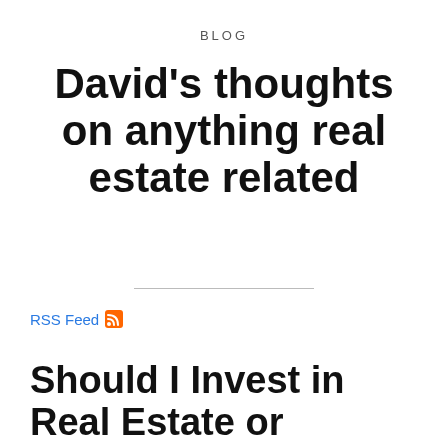BLOG
David's thoughts on anything real estate related
RSS Feed
Should I Invest in Real Estate or Insurance?